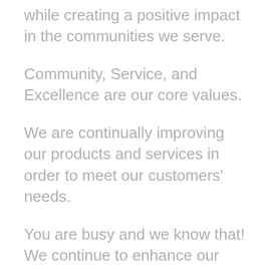while creating a positive impact in the communities we serve.
Community, Service, and Excellence are our core values.
We are continually improving our products and services in order to meet our customers' needs.
You are busy and we know that! We continue to enhance our electronic services and